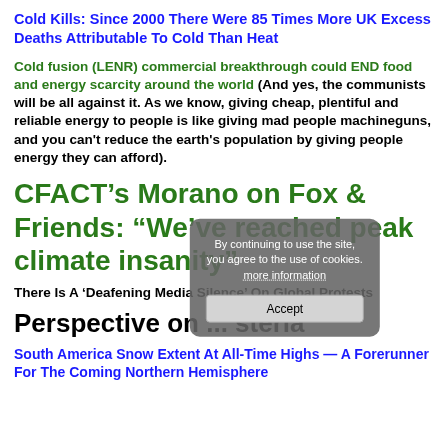Cold Kills: Since 2000 There Were 85 Times More UK Excess Deaths Attributable To Cold Than Heat
Cold fusion (LENR) commercial breakthrough could END food and energy scarcity around the world (And yes, the communists will be all against it. As we know, giving cheap, plentiful and reliable energy to people is like giving mad people machineguns, and you can't reduce the earth's population by giving people energy they can afford).
CFACT’s Morano on Fox & Friends: “We’ve reached peak climate insanity”
There Is A ‘Deafening Media Silence’ On Global Protests
Perspective on ... steria
South America Snow Extent At All-Time Highs — A Forerunner For The Coming Northern Hemisphere